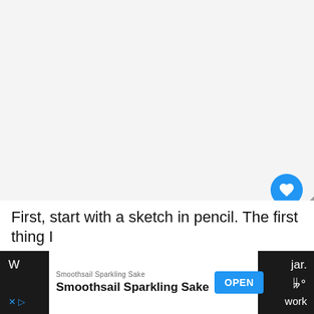[Figure (screenshot): Light gray blank/empty main content area of a webpage]
[Figure (infographic): Blue circular like/heart button, count badge showing '1', and white circular share button with plus icon on right side]
[Figure (infographic): WHAT'S NEXT banner with circular thumbnail showing watercolor painting and text 'Simple Watercolor...']
First, start with a sketch in pencil. The first thing I
[Figure (screenshot): Advertisement bar at bottom: 'Smoothsail Sparkling Sake' ad with OPEN button, X dismiss button, and partial article text on dark background. Tidal logo on far right.]